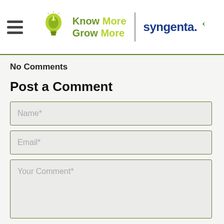Know More Grow More | syngenta.
No Comments
Post a Comment
Name*
Email*
Your Comment*